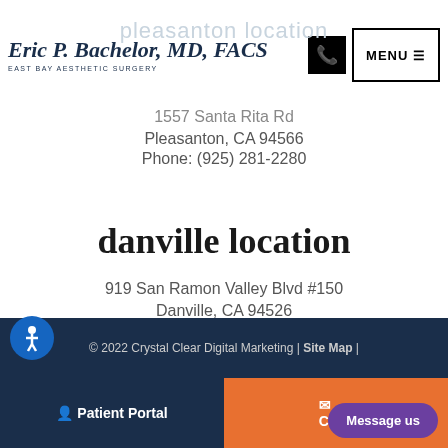Eric P. Bachelor, MD, FACS — EAST BAY AESTHETIC SURGERY
pleasanton location
1557 Santa Rita Rd
Pleasanton, CA 94566
Phone: (925) 281-2280
danville location
919 San Ramon Valley Blvd #150
Danville, CA 94526
Phone: (925) 281-2280
© 2022 Crystal Clear Digital Marketing | Site Map |
Patient Portal | Contact